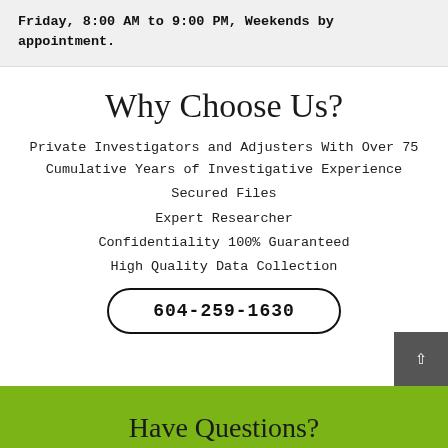Friday, 8:00 AM to 9:00 PM, Weekends by appointment.
Why Choose Us?
Private Investigators and Adjusters With Over 75 Cumulative Years of Investigative Experience
Secured Files
Expert Researcher
Confidentiality 100% Guaranteed
High Quality Data Collection
604-259-1630
Have Questions?